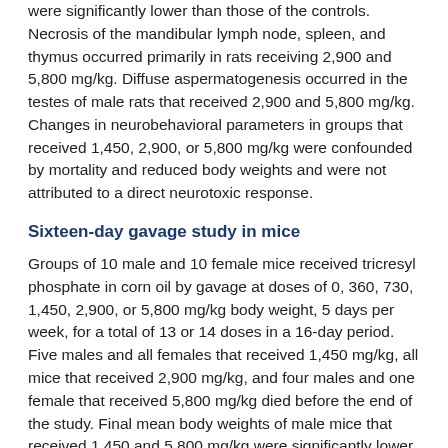were significantly lower than those of the controls. Necrosis of the mandibular lymph node, spleen, and thymus occurred primarily in rats receiving 2,900 and 5,800 mg/kg. Diffuse aspermatogenesis occurred in the testes of male rats that received 2,900 and 5,800 mg/kg. Changes in neurobehavioral parameters in groups that received 1,450, 2,900, or 5,800 mg/kg were confounded by mortality and reduced body weights and were not attributed to a direct neurotoxic response.
Sixteen-day gavage study in mice
Groups of 10 male and 10 female mice received tricresyl phosphate in corn oil by gavage at doses of 0, 360, 730, 1,450, 2,900, or 5,800 mg/kg body weight, 5 days per week, for a total of 13 or 14 doses in a 16-day period. Five males and all females that received 1,450 mg/kg, all mice that received 2,900 mg/kg, and four males and one female that received 5,800 mg/kg died before the end of the study. Final mean body weights of male mice that received 1,450 and 5,800 mg/kg were significantly lower than that of the controls. Final mean body weights of